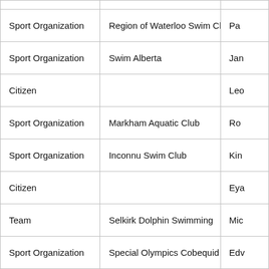| Sport Organization | Region of Waterloo Swim Club | Pa |
| Sport Organization | Swim Alberta | Jan |
| Citizen |  | Leo |
| Sport Organization | Markham Aquatic Club | Ro |
| Sport Organization | Inconnu Swim Club | Kin |
| Citizen |  | Eya |
| Team | Selkirk Dolphin Swimming | Mic |
| Sport Organization | Special Olympics Cobequid | Edv |
| Citizen |  | Cyr |
| Sport Organization | Winnipeg Wave Swim Club | Au |